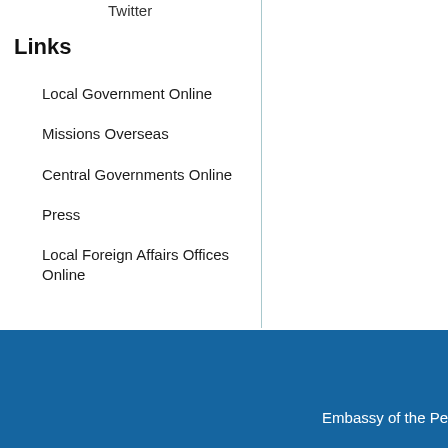Twitter
Links
Local Government Online
Missions Overseas
Central Governments Online
Press
Local Foreign Affairs Offices Online
Embassy of the Pe